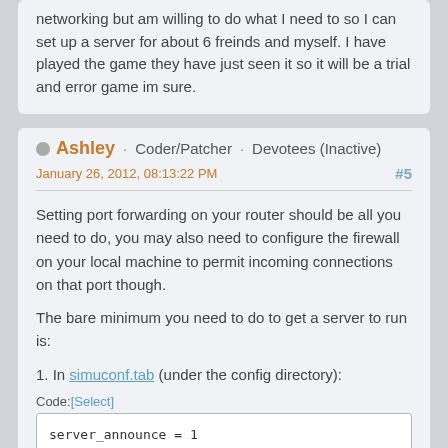networking but am willing to do what I need to so I can set up a server for about 6 freinds and myself. I have played the game they have just seen it so it will be a trial and error game im sure.
Ashley · Coder/Patcher · Devotees (Inactive)
January 26, 2012, 08:13:22 PM
#5
Setting port forwarding on your router should be all you need to do, you may also need to configure the firewall on your local machine to permit incoming connections on that port though.
The bare minimum you need to do to get a server to run is:
1. In simuconf.tab (under the config directory):
Code:[Select]
server_announce = 1

server_dns = <The IP address of your router, e.g.

server_name = <Some name you pick>